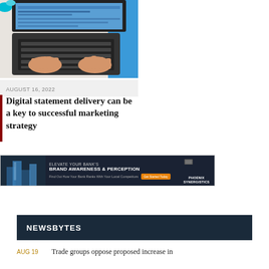[Figure (photo): Overhead view of hands typing on a laptop keyboard, with colorful objects on a white desk]
AUGUST 16, 2022
Digital statement delivery can be a key to successful marketing strategy
[Figure (other): Advertisement banner: ELEVATE YOUR BANK'S BRAND AWARENESS & PERCEPTION - Phoenix Synergistics - Find Out How Your Bank Ranks With Your Local Competitors - Get Started Today]
NEWSBYTES
AUG 19   Trade groups oppose proposed increase in